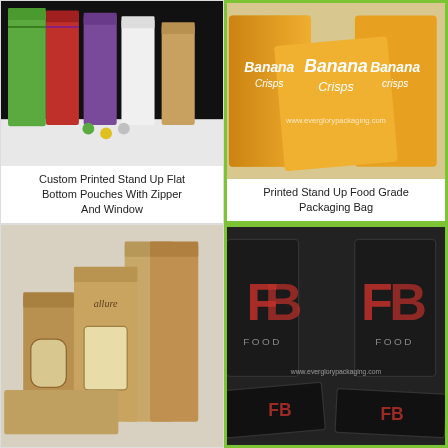[Figure (photo): Colorful stand-up flat bottom pouches with zipper and window on dark background — green, red, purple, white, and kraft colored bags]
Custom Printed Stand Up Flat Bottom Pouches With Zipper And Window
[Figure (photo): Printed stand-up food grade packaging bags with Banana Crisps branding in yellow and orange]
Printed Stand Up Food Grade Packaging Bag
[Figure (photo): Kraft paper stand-up bags with windows in various sizes arranged together]
[Figure (photo): Black stand-up food packaging bags with red lettering (FB Food) arranged with flat bags]